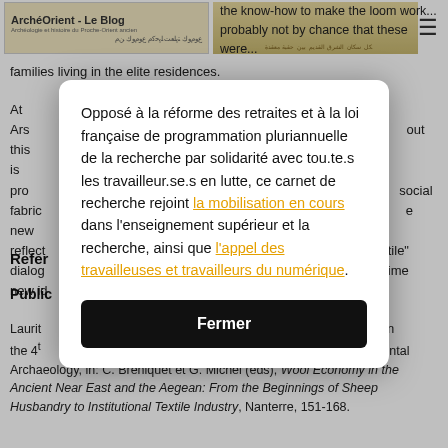ArchéOrient - Le Blog
that only a few families possessed the know-how to make the loom work... probably not by chance that these were... families living in the elite residences.
At Ars... about this is prob... social fabric... e new reflect... textile" dialog... antime new id...
References
Publications
Laurito... epe in the 4th... mental Archaeology, in: C. Breniquet et G. Michel (eds), Wool Economy in the Ancient Near East and the Aegean: From the Beginnings of Sheep Husbandry to Institutional Textile Industry, Nanterre, 151-168.
Opposé à la réforme des retraites et à la loi française de programmation pluriannuelle de la recherche par solidarité avec tou.te.s les travailleur.se.s en lutte, ce carnet de recherche rejoint la mobilisation en cours dans l'enseignement supérieur et la recherche, ainsi que l'appel des travailleuses et travailleurs du numérique.
Fermer